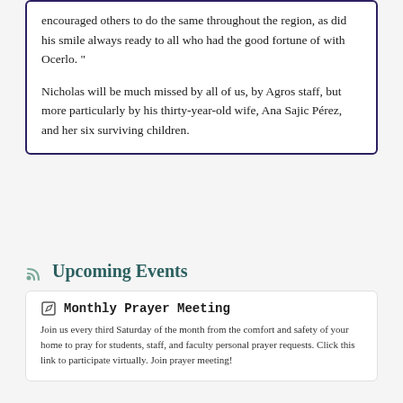encouraged others to do the same throughout the region, as did his smile always ready to all who had the good fortune of with Ocerlo. "
Nicholas will be much missed by all of us, by Agros staff, but more particularly by his thirty-year-old wife, Ana Sajic Pérez, and her six surviving children.
Upcoming Events
Monthly Prayer Meeting
Join us every third Saturday of the month from the comfort and safety of your home to pray for students, staff, and faculty personal prayer requests. Click this link to participate virtually. Join prayer meeting!